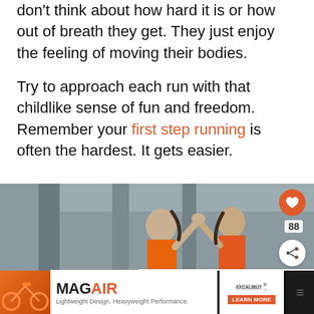don't think about how hard it is or how out of breath they get. They just enjoy the feeling of moving their bodies.
Try to approach each run with that childlike sense of fun and freedom. Remember your first step running is often the hardest. It gets easier.
[Figure (photo): Two women in orange athletic tops giving a high five under a concrete overpass/bridge structure, celebrating after a run. Social media overlay elements visible including heart button, share button, count of 88, and a 'What's Next' preview card.]
[Figure (screenshot): Advertisement banner for MAGAIR product with tagline 'Lightweight Design. Heavyweight Performance.' and Excalibut brand logo with a Learn More button.]